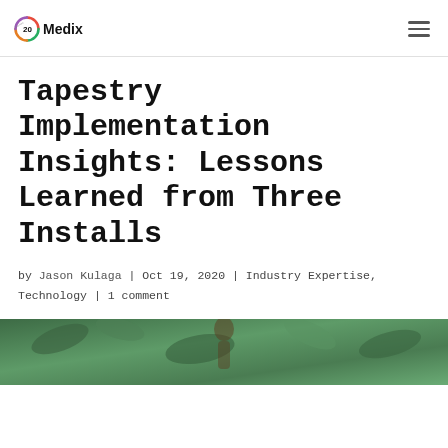20Medix logo and navigation
Tapestry Implementation Insights: Lessons Learned from Three Installs
by Jason Kulaga | Oct 19, 2020 | Industry Expertise, Technology | 1 comment
[Figure (photo): Photo at the bottom of the page showing a person outdoors with green foliage background]